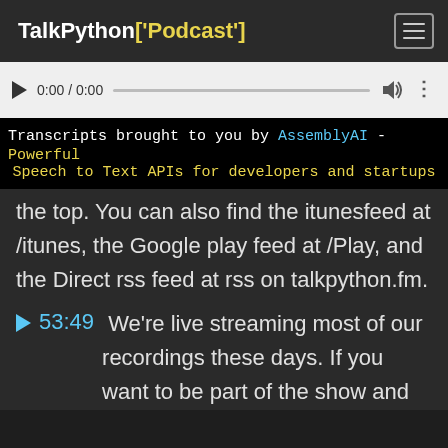TalkPython['Podcast']
[Figure (screenshot): Audio player control bar showing play button, time 0:00 / 0:00, progress bar, volume icon, and more options icon]
Transcripts brought to you by AssemblyAI - Powerful Speech to Text APIs for developers and startups
the top. You can also find the itunesfeed at /itunes, the Google play feed at /Play, and the Direct rss feed at rss on talkpython.fm.
53:49 We're live streaming most of our recordings these days. If you want to be part of the show and